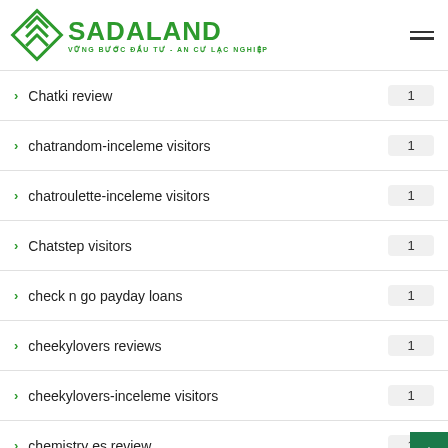SADALAND — VỮNG BƯỚC ĐẦU TƯ - AN CƯ LẠC NGHIỆP
Chatki review  1
chatrandom-inceleme visitors  1
chatroulette-inceleme visitors  1
Chatstep visitors  1
check n go payday loans  1
cheekylovers reviews  1
cheekylovers-inceleme visitors  1
chemistry es review  1